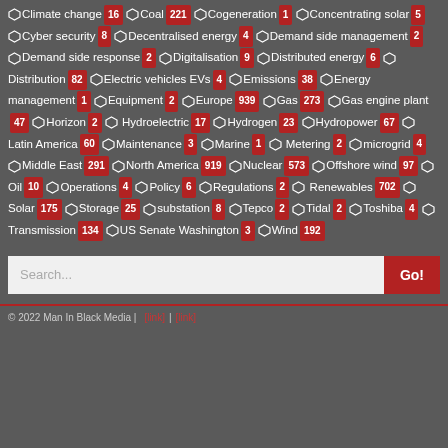Climate change 16 | Coal 221 | Cogeneration 1 | Concentrating solar 5 | Cyber security 8 | Decentralised energy 4 | Demand side management 2 | Demand side response 2 | Digitalisation 9 | Distributed energy 6 | Distribution 82 | Electric vehicles EVs 4 | Emissions 38 | Energy management 1 | Equipment 2 | Europe 939 | Gas 273 | Gas engine plant 47 | Horizon 2 | Hydroelectric 17 | Hydrogen 23 | Hydropower 67 | Latin America 60 | Maintenance 3 | Marine 1 | Metering 2 | microgrid 4 | Middle East 291 | North America 919 | Nuclear 573 | Offshore wind 97 | Oil 10 | Operations 4 | Policy 6 | Regulations 2 | Renewables 702 | Solar 175 | Storage 25 | substation 8 | Tepco 2 | Tidal 2 | Toshiba 4 | Transmission 134 | US Senate Washington 3 | Wind 192
Search...
© 2022 Man In Black Media | [links]